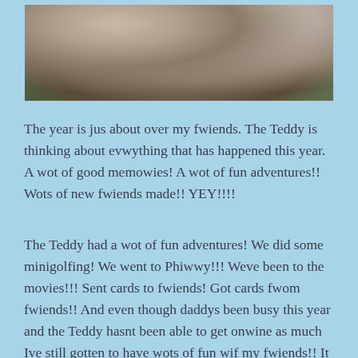[Figure (photo): Close-up photo of a teddy bear, showing soft fluffy fur texture with warm brown and grey tones, and a glimpse of green foliage in the background.]
The year is jus about over my fwiends. The Teddy is thinking about evwything that has happened this year. A wot of good memowies! A wot of fun adventures!! Wots of new fwiends made!! YEY!!!!
The Teddy had a wot of fun adventures! We did some minigolfing! We went to Phiwwy!!! Weve been to the movies!!! Sent cards to fwiends! Got cards fwom fwiends!! And even though daddys been busy this year and the Teddy hasnt been able to get onwine as much Ive still gotten to have wots of fun wif my fwiends!! It makes the Teddy so happy to have so many wonderful fwiends!!!!